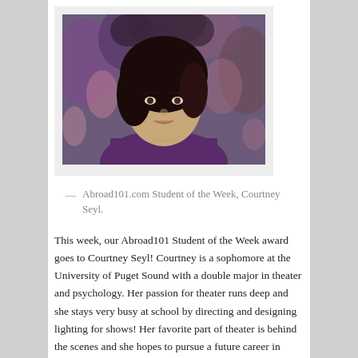[Figure (photo): Portrait photo of Courtney Seyl, a young woman with dark hair, looking slightly upward, wearing a purple jacket, outdoors with foliage in background.]
— Abroad101.com Student of the Week, Courtney Seyl.
This week, our Abroad101 Student of the Week award goes to Courtney Seyl! Courtney is a sophomore at the University of Puget Sound with a double major in theater and psychology. Her passion for theater runs deep and she stays very busy at school by directing and designing lighting for shows! Her favorite part of theater is behind the scenes and she hopes to pursue a future career in directing, lighting, or dramaturgy. She does love her psychology courses though, so is also considering going to graduate school for forensic psychology or social